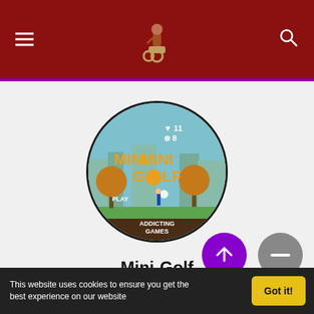Mini-Golf game website header with navigation hamburger menu and search icon
[Figure (screenshot): Circular game thumbnail for Mini-Golf showing a colorful 2D golf game scene with the text MINI GOLF and ADDICTING GAMES, set against a cityscape backdrop with trees and a dark soil bottom]
Mini-Golf
~Online Game~ ~html5~ ~Flash Games~
This website uses cookies to ensure you get the best experience on our website
Got it!